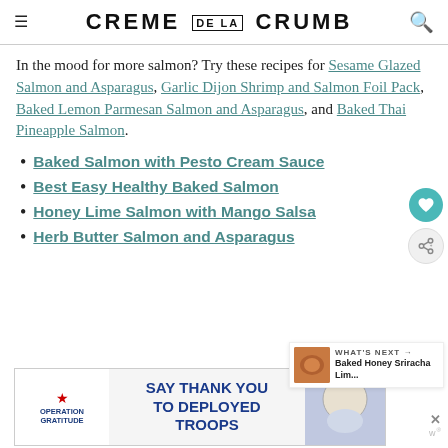CREME DE LA CRUMB
In the mood for more salmon? Try these recipes for Sesame Glazed Salmon and Asparagus, Garlic Dijon Shrimp and Salmon Foil Pack, Baked Lemon Parmesan Salmon and Asparagus, and Baked Thai Pineapple Salmon.
Baked Salmon with Pesto Cream Sauce
Best Easy Healthy Baked Salmon
Honey Lime Salmon with Mango Salsa
Herb Butter Salmon and Asparagus
[Figure (screenshot): Advertisement banner: Operation Gratitude - Say Thank You to Deployed Troops]
[Figure (other): What's Next widget showing Baked Honey Sriracha Lim...]